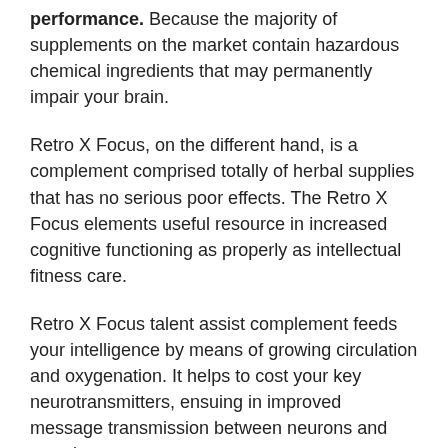performance. Because the majority of supplements on the market contain hazardous chemical ingredients that may permanently impair your brain.
Retro X Focus, on the different hand, is a complement comprised totally of herbal supplies that has no serious poor effects. The Retro X Focus elements useful resource in increased cognitive functioning as properly as intellectual fitness care.
Retro X Focus talent assist complement feeds your intelligence by means of growing circulation and oxygenation. It helps to cost your key neurotransmitters, ensuing in improved message transmission between neurons and muscles.